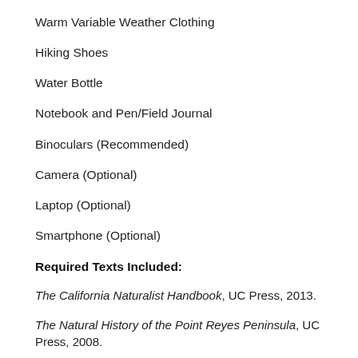Warm Variable Weather Clothing
Hiking Shoes
Water Bottle
Notebook and Pen/Field Journal
Binoculars (Recommended)
Camera (Optional)
Laptop (Optional)
Smartphone (Optional)
Required Texts Included:
The California Naturalist Handbook, UC Press, 2013.
The Natural History of the Point Reyes Peninsula, UC Press, 2008.